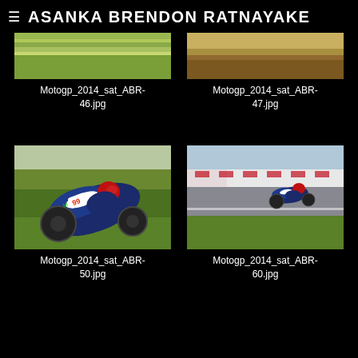ASANKA BRENDON RATNAYAKE
[Figure (photo): Partially visible motorsport photo - green racetrack landscape, top portion cropped]
Motogp_2014_sat_ABR-46.jpg
[Figure (photo): Partially visible motorsport photo - green racetrack landscape, top portion cropped]
Motogp_2014_sat_ABR-47.jpg
[Figure (photo): MotoGP motorcycle racer leaning into corner on grass verge, close-up shot, blue and white Yamaha bike with number 99]
Motogp_2014_sat_ABR-50.jpg
[Figure (photo): MotoGP motorcycle racer on track with pit lane barriers visible, blue and white Yamaha bike, wide shot]
Motogp_2014_sat_ABR-60.jpg